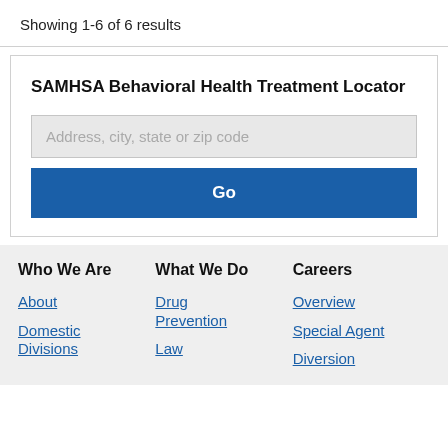Showing 1-6 of 6 results
[Figure (screenshot): SAMHSA Behavioral Health Treatment Locator widget with a text input field reading 'Address, city, state or zip code' and a blue 'Go' button]
Who We Are
What We Do
Careers
About
Drug Prevention
Overview
Domestic Divisions
Law
Diversion